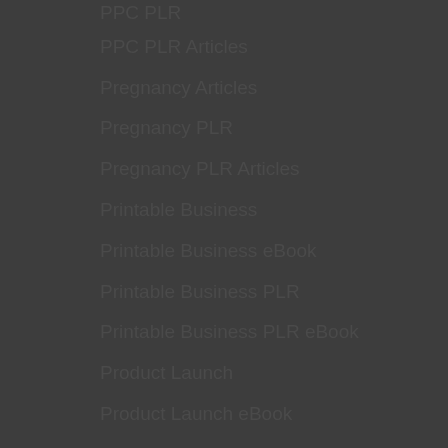PPC PLR
PPC PLR Articles
Pregnancy Articles
Pregnancy PLR
Pregnancy PLR Articles
Printable Business
Printable Business eBook
Printable Business PLR
Printable Business PLR eBook
Product Launch
Product Launch eBook
Product Launch PLR eBook
Product Launch Success
Product Launch Success eBook
Product Launch Success PLR
Product Launch Success PLR eBook
Profit Builder